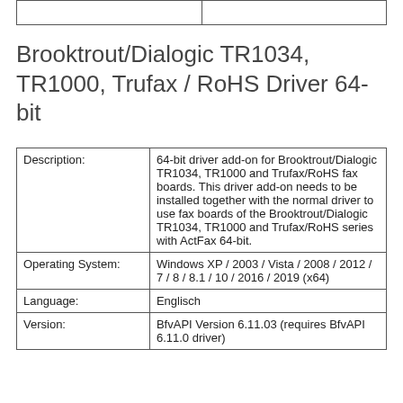Brooktrout/Dialogic TR1034, TR1000, Trufax / RoHS Driver 64-bit
| Description: | 64-bit driver add-on for Brooktrout/Dialogic TR1034, TR1000 and Trufax/RoHS fax boards. This driver add-on needs to be installed together with the normal driver to use fax boards of the Brooktrout/Dialogic TR1034, TR1000 and Trufax/RoHS series with ActFax 64-bit. |
| Operating System: | Windows XP / 2003 / Vista / 2008 / 2012 / 7 / 8 / 8.1 / 10 / 2016 / 2019 (x64) |
| Language: | Englisch |
| Version: | BfvAPI Version 6.11.03 (requires BfvAPI 6.11.0 driver) |